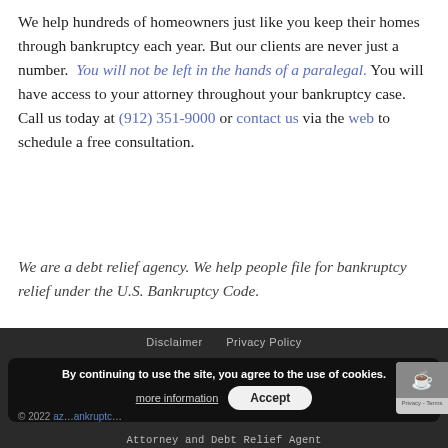We help hundreds of homeowners just like you keep their homes through bankruptcy each year. But our clients are never just a number. You will not be left in the hands of a paralegal. You will have access to your attorney throughout your bankruptcy case. Call us today at (912) 351-9000 or contact us via the web to schedule a free consultation.
We are a debt relief agency. We help people file for bankruptcy relief under the U.S. Bankruptcy Code.
Disclaimer   Privacy Policy   © 2022 [az...] ankruptc... Attorney and Debt Relief Agent